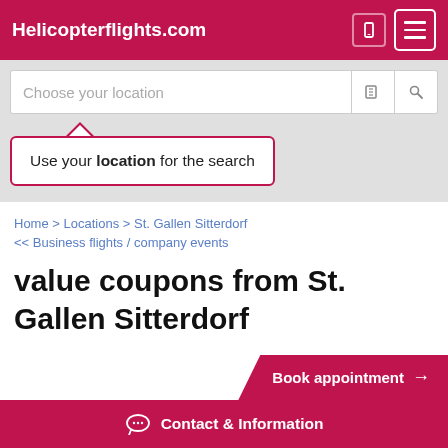Helicopterflights.com
Choose your location
Use your location for the search
Home > Locations > St. Gallen Sitterdorf
<< Business flights / company events
value coupons from St. Gallen Sitterdorf
Book appointment →
Contact & Information